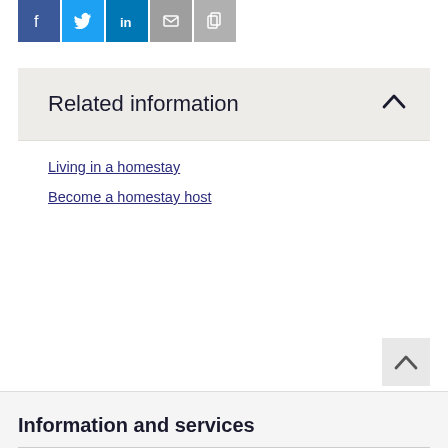[Figure (other): Row of social media share icons: Facebook (blue), Twitter (light blue), LinkedIn (dark blue), Email (grey), Copy link (grey)]
Related information
Living in a homestay
Become a homestay host
[Figure (other): Back to top chevron button (grey background, upward arrow)]
Information and services